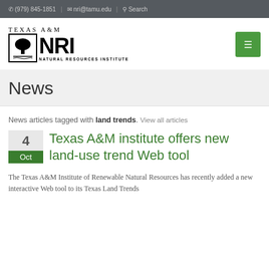(979) 845-1851 | nri@tamu.edu | Search
[Figure (logo): Texas A&M Natural Resources Institute logo with tree icon and NRI text]
News
News articles tagged with land trends. View all articles
Texas A&M institute offers new land-use trend Web tool
The Texas A&M Institute of Renewable Natural Resources has recently added a new interactive Web tool to its Texas Land Trends